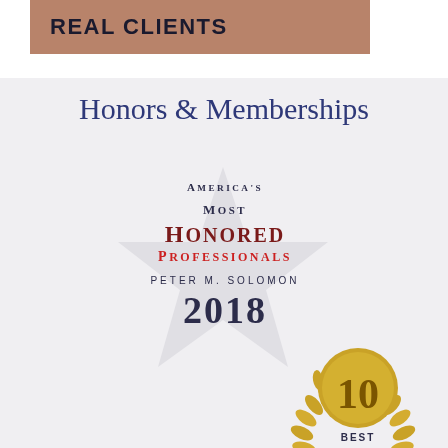REAL CLIENTS
Honors & Memberships
[Figure (illustration): America's Most Honored Professionals badge with star background, name Peter M. Solomon, year 2018]
[Figure (illustration): 10 Best award badge with gold laurel wreath, partial view showing '10' and 'BEST']